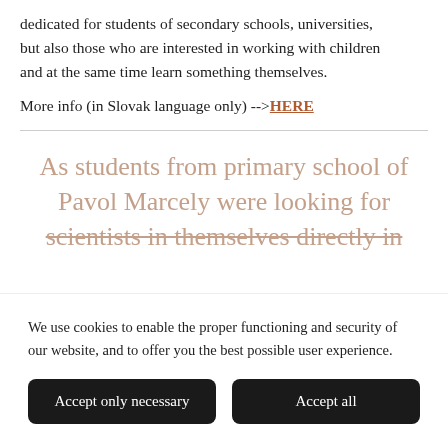dedicated for students of secondary schools, universities, but also those who are interested in working with children and at the same time learn something themselves.
More info (in Slovak language only) -->HERE
As students from primary school of Pavol Marcely were looking for scientists in themselves directly in
We use cookies to enable the proper functioning and security of our website, and to offer you the best possible user experience.
Accept only necessary
Accept all